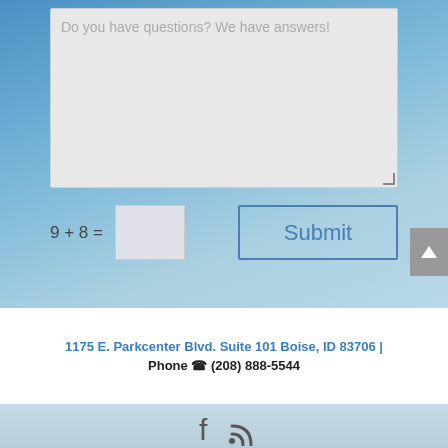[Figure (screenshot): Textarea input field with placeholder text 'Do you have questions? We have answers!' on a blue gradient background]
9 + 8 =
Submit
1175 E. Parkcenter Blvd. Suite 101 Boise, ID 83706 | Phone ☎ (208) 888-5544
[Figure (screenshot): Social media icons: Facebook and RSS feed icons in a light blue footer]